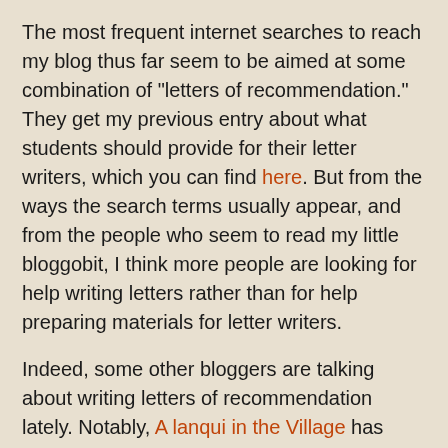The most frequent internet searches to reach my blog thus far seem to be aimed at some combination of "letters of recommendation." They get my previous entry about what students should provide for their letter writers, which you can find here. But from the ways the search terms usually appear, and from the people who seem to read my little bloggobit, I think more people are looking for help writing letters rather than for help preparing materials for letter writers.
Indeed, some other bloggers are talking about writing letters of recommendation lately. Notably, A lanqui in the Village has asked about writing for students who are less than stellar in a post entitled, "Saying No to Recommendations." The responses are interesting, and mostly very helpful. Most agree that we need to be honest with our students if we can't write them good letters. One of the responses linked another blog, PEA Soup, which I'd never read before, but which asks some ethical questions about writing letters of recommendation. The most difficult question is about the student who is well qualified on paper, but abhorrent in some way (the example PEA soup gives has to do with racism).